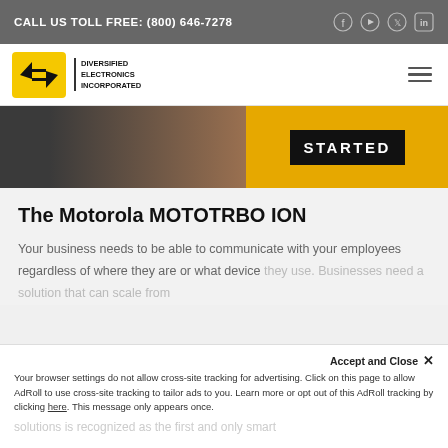CALL US TOLL FREE: (800) 646-7278
[Figure (logo): Diversified Electronics Incorporated logo with yellow arrow icon and company name text]
[Figure (photo): Hero banner strip showing a person and yellow background with STARTED button box]
The Motorola MOTOTRBO ION
Your business needs to be able to communicate with your employees regardless of where they are or what device they use. Businesses need a solution that can scale from...
Your browser settings do not allow cross-site tracking for advertising. Click on this page to allow AdRoll to use cross-site tracking to tailor ads to you. Learn more or opt out of this AdRoll tracking by clicking here. This message only appears once.